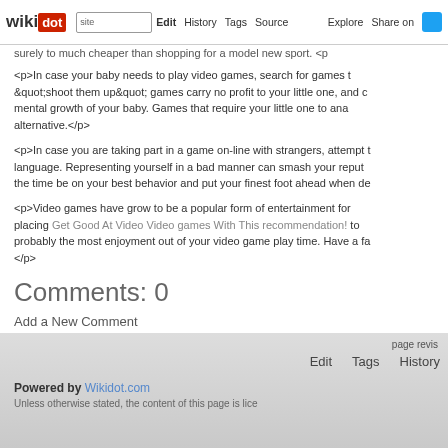wikidot | site | Edit | History | Tags | Source | Explore | Share on [Twitter]
surely to much cheaper than shopping for a model new sport. <p
<p>In case your baby needs to play video games, search for games t "shoot them up" games carry no profit to your little one, and c mental growth of your baby. Games that require your little one to ana alternative.</p>
<p>In case you are taking part in a game on-line with strangers, attempt t language. Representing yourself in a bad manner can smash your reput the time be on your best behavior and put your finest foot ahead when de
<p>Video games have grow to be a popular form of entertainment for placing Get Good At Video Video games With This recommendation! to probably the most enjoyment out of your video game play time. Have a fa </p>
Comments: 0
Add a New Comment
page revis Edit  Tags  History
Powered by Wikidot.com
Unless otherwise stated, the content of this page is lice